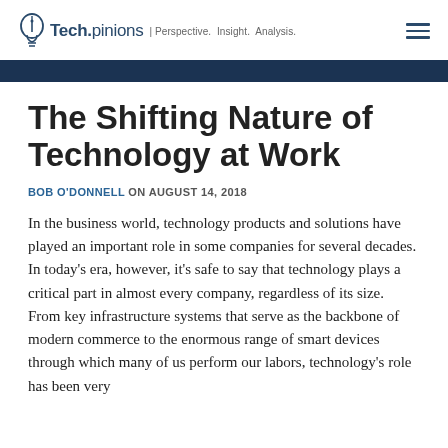Tech.pinions | Perspective. Insight. Analysis.
The Shifting Nature of Technology at Work
BOB O'DONNELL ON AUGUST 14, 2018
In the business world, technology products and solutions have played an important role in some companies for several decades. In today's era, however, it's safe to say that technology plays a critical part in almost every company, regardless of its size. From key infrastructure systems that serve as the backbone of modern commerce to the enormous range of smart devices through which many of us perform our labors, technology's role has been very